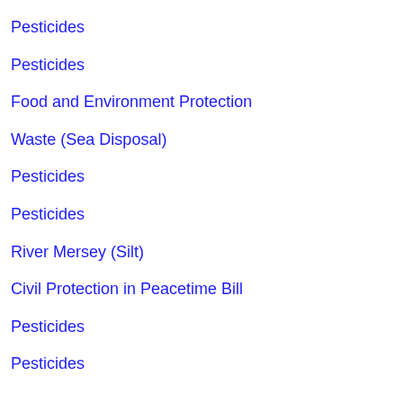Pesticides
Pesticides
Food and Environment Protection
Waste (Sea Disposal)
Pesticides
Pesticides
River Mersey (Silt)
Civil Protection in Peacetime Bill
Pesticides
Pesticides